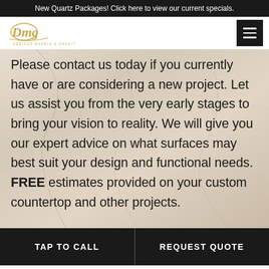New Quartz Packages! Click here to view our current specials.
[Figure (logo): Designs Marble & Granite logo in gold script with company name below]
Please contact us today if you currently have or are considering a new project. Let us assist you from the very early stages to bring your vision to reality. We will give you our expert advice on what surfaces may best suit your design and functional needs. FREE estimates provided on your custom countertop and other projects.
TAP TO CALL | REQUEST QUOTE